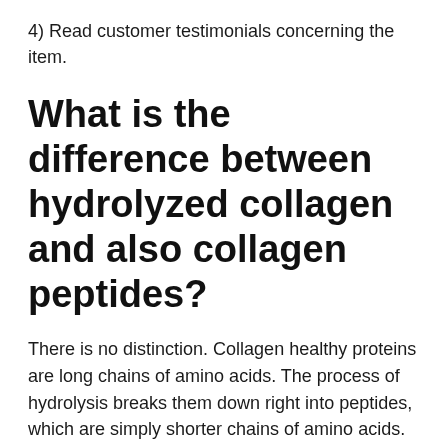4) Read customer testimonials concerning the item.
What is the difference between hydrolyzed collagen and also collagen peptides?
There is no distinction. Collagen healthy proteins are long chains of amino acids. The process of hydrolysis breaks them down right into peptides, which are simply shorter chains of amino acids. Collagen supplements are otherwise identified as “hydrolyzed collagen” or “collagen peptides,” but they’re